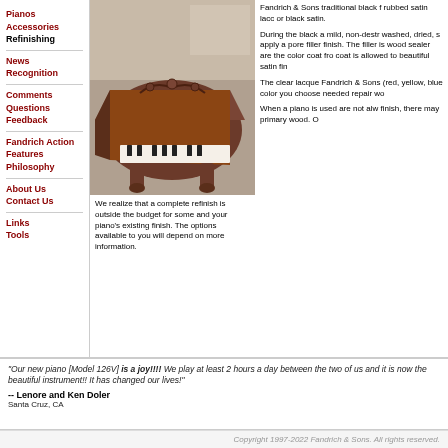Pianos
Accessories
Refinishing
News
Recognition
Comments
Questions
Feedback
Fandrich Action Features
Philosophy
About Us
Contact Us
Links
Tools
[Figure (photo): Photo of an ornate mahogany grand piano with carved legs and decorative scrollwork on the music desk, in a workshop setting]
Fandrich & Sons traditional black f rubbed satin lacc or black satin.

During the black a mild, non-destr washed, dried, s apply a pore filler finish. The filler is wood sealer are the color coat fro coat is allowed to beautiful satin fin

The clear lacque Fandrich & Sons (red, yellow, blue color you choose needed repair wo

When a piano is used are not alw finish, there may primary wood. O
We realize that a complete refinish is outside the budget for some and your piano's existing finish. The options available to you will depend on more information.
"Our new piano [Model 126V] is a joy!!!! We play at least 2 hours a day between the two of us and it is now the beautiful instrument!! It has changed our lives!"
-- Lenore and Ken Doler
Santa Cruz, CA
Copyright 1997-2022 Fandrich & Sons. All rights reserved.